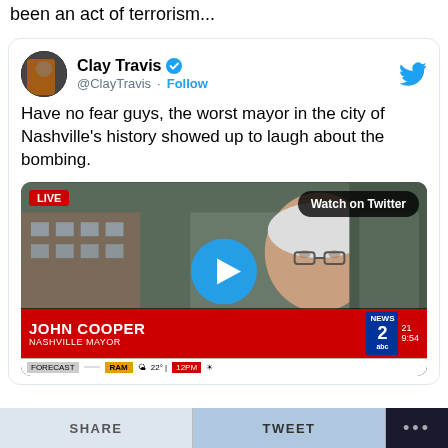been an act of terrorism...
[Figure (screenshot): Embedded tweet from @ClayTravis with text 'Have no fear guys, the worst mayor in the city of Nashville's history showed up to laugh about the bombing.' with an embedded video thumbnail showing John Cooper, Nashville Mayor, with LIVE badge, Watch on Twitter button, and play button. News 2 ABC lower third visible.]
SHARE   TWEET   ...